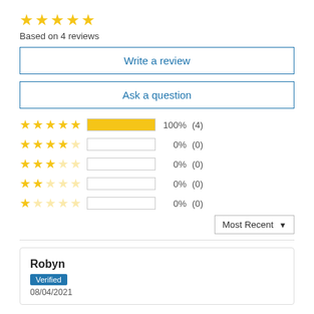[Figure (other): 5 filled gold stars rating display]
Based on 4 reviews
Write a review
Ask a question
[Figure (bar-chart): Star rating breakdown: 5 stars 100% (4), 4 stars 0% (0), 3 stars 0% (0), 2 stars 0% (0), 1 star 0% (0)]
Most Recent ▼
Robyn
Verified
08/04/2021